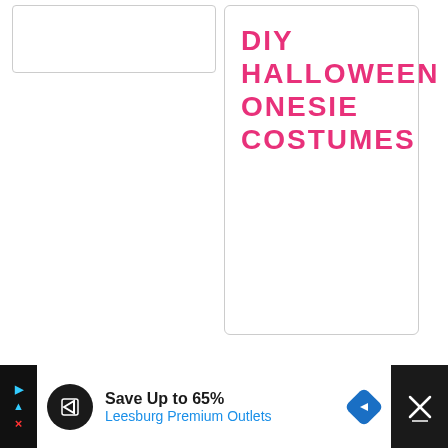[Figure (other): White rectangular card with light gray border, partial view at top left]
DIY HALLOWEEN ONESIE COSTUMES
[Figure (other): Large light gray/white area below the horizontal divider line — empty content area]
Save Up to 65%
Leesburg Premium Outlets